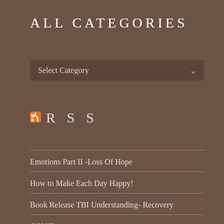ALL CATEGORIES
Select Category
RSS
Emotions Part II -Loss Of Hope
How to Make Each Day Happy!
Book Release TBI Understanding- Recovery
COVID